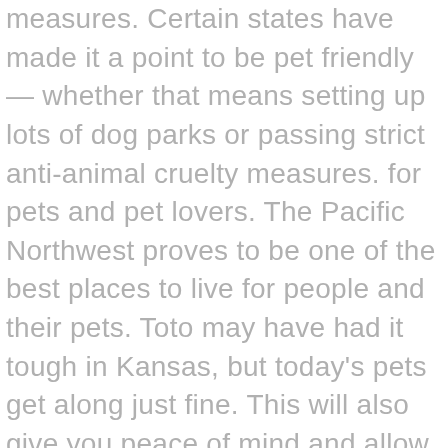measures. Certain states have made it a point to be pet friendly — whether that means setting up lots of dog parks or passing strict anti-animal cruelty measures. for pets and pet lovers. The Pacific Northwest proves to be one of the best places to live for people and their pets. Toto may have had it tough in Kansas, but today's pets get along just fine. This will also give you peace of mind and allow you to check on your pet's safety as well as the order of your home. You pet owners have it "ruff" when making vacation plans. Summer celebrations often include loud noises like fireworks, and almost one in five dogs go missing because of abrasive noises like storms, gunshots, or fireworks. Certain states have made it a point to be pet friendly — whether that means setting up lots of dog parks or passing strict anti-animal cruelty measures. When we say the name "Oklahoma," a famous show tune might pop into your head. According to the list, the Pine Tree state has 76 dog-friendly